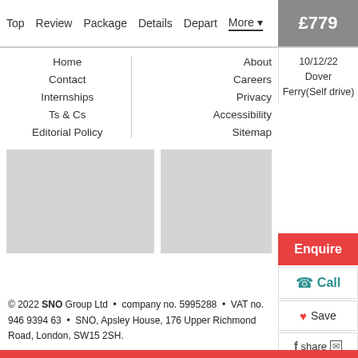Top  Review  Package  Details  Depart  More ▾  £779
10/12/22 Dover Ferry(Self drive)
Home
Contact
Internships
Ts & Cs
Editorial Policy
About
Careers
Privacy
Accessibility
Sitemap
[Figure (photo): Two gray image placeholders side by side]
Enquire
Call
Save
share
© 2022 SNO Group Ltd • company no. 5995288 • VAT no. 946 9394 63 • SNO, Apsley House, 176 Upper Richmond Road, London, SW15 2SH.